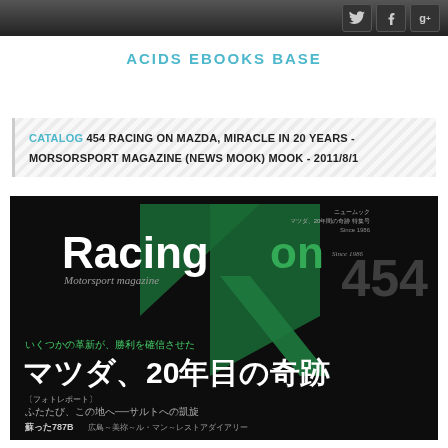[Navigation bar with social icons: Twitter, Facebook, Google+]
ACIDS EBOOKS BASE
CATALOG 454 RACING ON MAZDA, MIRACLE IN 20 YEARS - MORSORSPORT MAGAZINE (NEWS MOOK) MOOK - 2011/8/1
[Figure (photo): Book cover of Racing on Motorsport Magazine issue 454 featuring 'Racing on' title in white and green, large green R logo, Japanese text reading 'Matsuda, 20-nen-me no kiseki' (Mazda, Miracle in 20 years), and subtitle text about a photo report on Le Mans.]